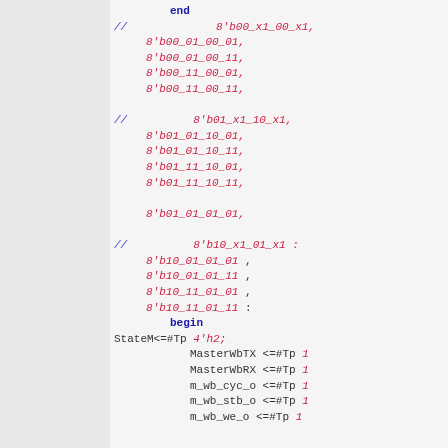Verilog/HDL source code snippet showing case statement entries with binary literals and begin/end block with state machine assignments